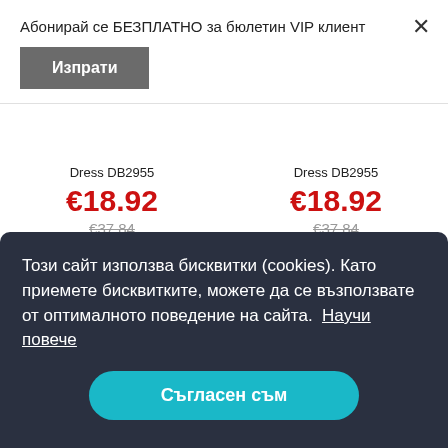Абонирай се БЕЗПЛАТНО за бюлетин VIP клиент
Изпрати
Dress DB2955
€18.92
€37.84
View details
Dress DB2955
€18.92
€37.84
View details
45%
Този сайт използва бисквитки (cookies). Като приемете бисквитките, можете да се възползвате от оптималното поведение на сайта.  Научи повече
Съгласен съм